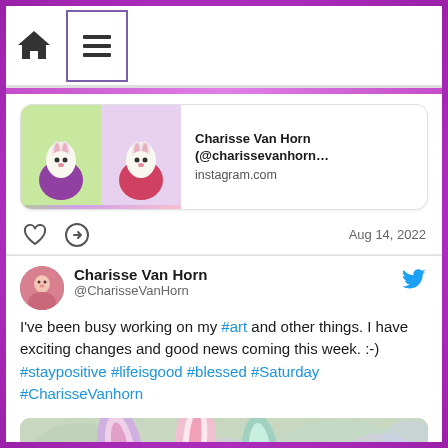[Figure (screenshot): Social media app screenshot showing navigation bar with home icon and hamburger menu button, a link card for an Instagram post by Charisse Van Horn, action icons (heart, retweet), date Aug 14 2022, a tweet from @CharisseVanHorn about art and good news with hashtags, and a partial image of decorative bunny ears at the bottom.]